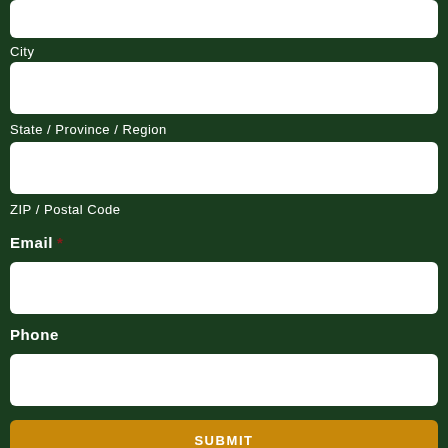City
State / Province / Region
ZIP / Postal Code
Email *
Phone
SUBMIT